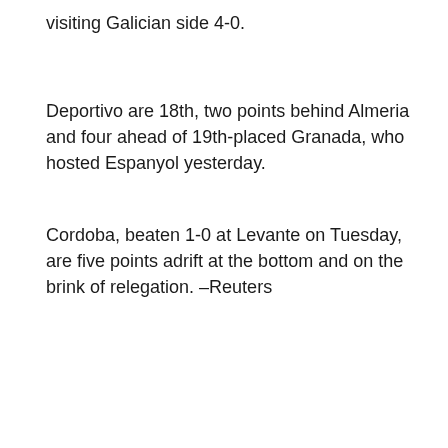visiting Galician side 4-0.
Deportivo are 18th, two points behind Almeria and four ahead of 19th-placed Granada, who hosted Espanyol yesterday.
Cordoba, beaten 1-0 at Levante on Tuesday, are five points adrift at the bottom and on the brink of relegation. –Reuters